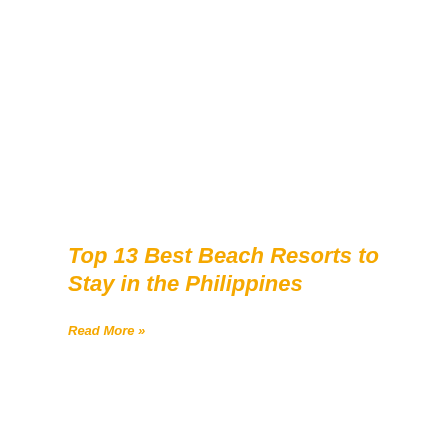Top 13 Best Beach Resorts to Stay in the Philippines
Read More »